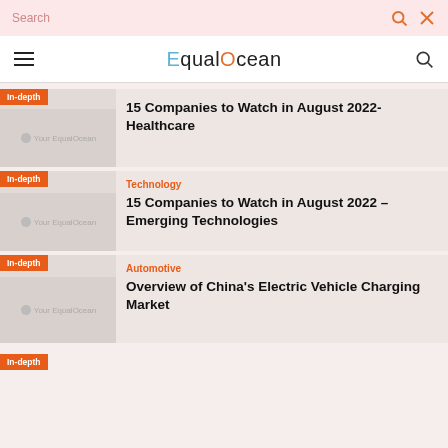Search
EqualOcean
[Figure (screenshot): Thumbnail placeholder with 'Your EqualOcean' watermark for Healthcare article]
15 Companies to Watch in August 2022- Healthcare
In-depth
Technology
[Figure (screenshot): Thumbnail placeholder with 'Your EqualOcean' watermark for Emerging Technologies article]
15 Companies to Watch in August 2022 – Emerging Technologies
In-depth
Automotive
[Figure (screenshot): Thumbnail placeholder with 'Your EqualOcean' watermark for Electric Vehicle article]
Overview of China's Electric Vehicle Charging Market
In-depth